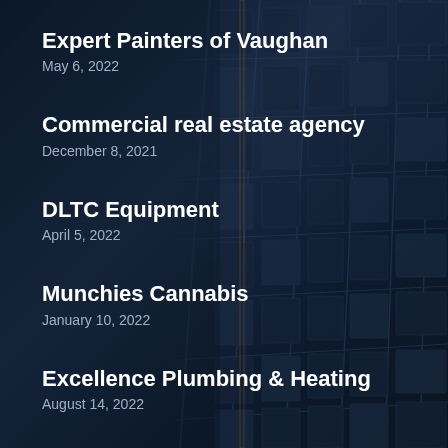[Figure (photo): Dark blue commercial building facade with glass windows at night, used as background image]
Expert Painters of Vaughan
May 6, 2022
Commercial real estate agency
December 8, 2021
DLTC Equipment
April 5, 2022
Munchies Cannabis
January 10, 2022
Excellence Plumbing & Heating
August 14, 2022